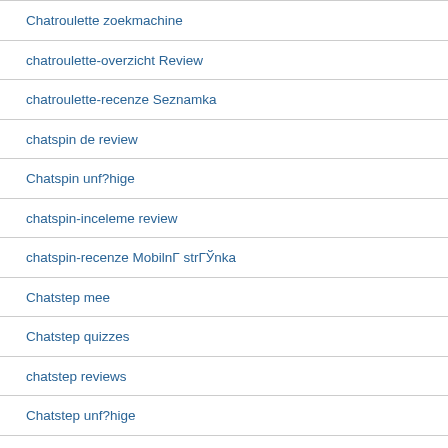Chatroulette zoekmachine
chatroulette-overzicht Review
chatroulette-recenze Seznamka
chatspin de review
Chatspin unf?hige
chatspin-inceleme review
chatspin-recenze MobilnГ strГЎnka
Chatstep mee
Chatstep quizzes
chatstep reviews
Chatstep unf?hige
Chatstep visitors
chatstep-inceleme visitors
chattanooga escort
Chattanooga+TN+Tennessee sign in